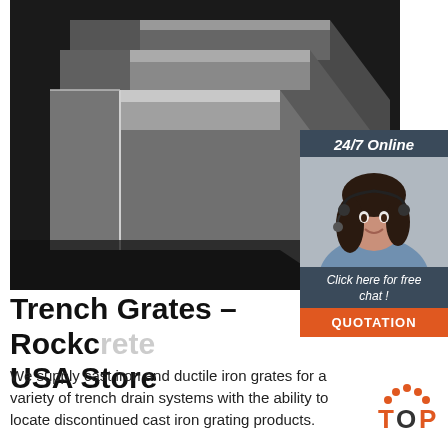[Figure (photo): Stack of steel angle iron / L-shaped metal bars on a dark background]
[Figure (infographic): 24/7 Online support widget showing a woman with headset, 'Click here for free chat!' text, and an orange QUOTATION button]
Trench Grates – Rockc… USA Store
We supply cast iron and ductile iron grates for a variety of trench drain systems with the ability to locate discontinued cast iron grating products.
[Figure (logo): TOP logo with orange dots forming an arch and bold text]